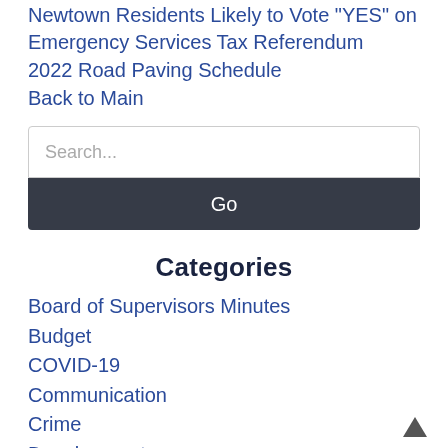Newtown Residents Likely to Vote "YES" on Emergency Services Tax Referendum
2022 Road Paving Schedule
Back to Main
Categories
Board of Supervisors Minutes
Budget
COVID-19
Communication
Crime
Development
Discrimination